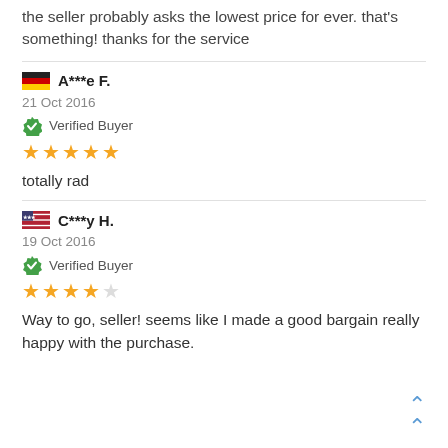the seller probably asks the lowest price for ever. that's something! thanks for the service
A***e F.
21 Oct 2016
Verified Buyer
★★★★★ (5 stars)
totally rad
C***y H.
19 Oct 2016
Verified Buyer
★★★★☆ (4 stars)
Way to go, seller! seems like I made a good bargain really happy with the purchase.